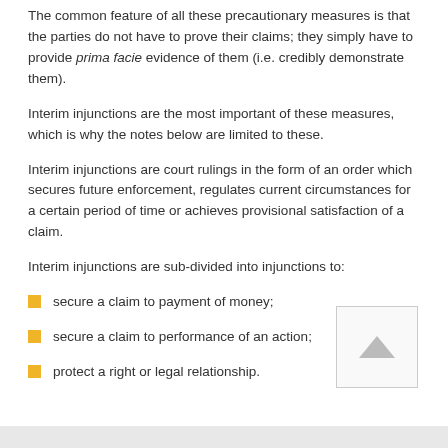The common feature of all these precautionary measures is that the parties do not have to prove their claims; they simply have to provide prima facie evidence of them (i.e. credibly demonstrate them).
Interim injunctions are the most important of these measures, which is why the notes below are limited to these.
Interim injunctions are court rulings in the form of an order which secures future enforcement, regulates current circumstances for a certain period of time or achieves provisional satisfaction of a claim.
Interim injunctions are sub-divided into injunctions to:
secure a claim to payment of money;
secure a claim to performance of an action;
protect a right or legal relationship.